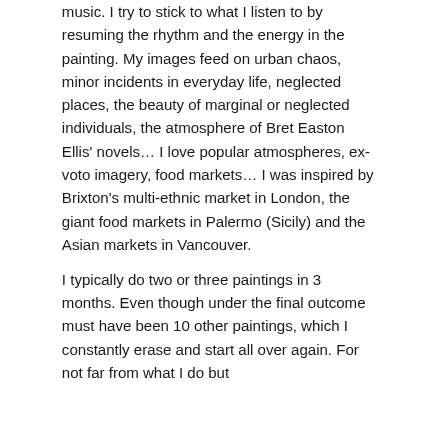music. I try to stick to what I listen to by resuming the rhythm and the energy in the painting. My images feed on urban chaos, minor incidents in everyday life, neglected places, the beauty of marginal or neglected individuals, the atmosphere of Bret Easton Ellis' novels… I love popular atmospheres, ex-voto imagery, food markets… I was inspired by Brixton's multi-ethnic market in London, the giant food markets in Palermo (Sicily) and the Asian markets in Vancouver.
I typically do two or three paintings in 3 months. Even though under the final outcome must have been 10 other paintings, which I constantly erase and start all over again. For not far from what I do but…